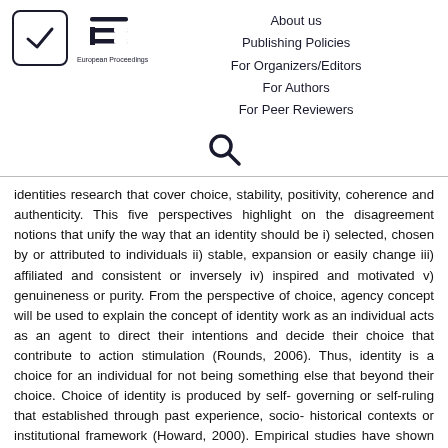[Figure (logo): European Proceedings logo with checkmark box and EP symbol]
About us
Publishing Policies
For Organizers/Editors
For Authors
For Peer Reviewers
[Figure (other): Search icon (magnifying glass)]
identities research that cover choice, stability, positivity, coherence and authenticity. This five perspectives highlight on the disagreement notions that unify the way that an identity should be i) selected, chosen by or attributed to individuals ii) stable, expansion or easily change iii) affiliated and consistent or inversely iv) inspired and motivated v) genuineness or purity. From the perspective of choice, agency concept will be used to explain the concept of identity work as an individual acts as an agent to direct their intentions and decide their choice that contribute to action stimulation (Rounds, 2006). Thus, identity is a choice for an individual for not being something else that beyond their choice. Choice of identity is produced by self- governing or self-ruling that established through past experience, socio- historical contexts or institutional framework (Howard, 2000). Empirical studies have shown how the choice of identity significantly influences the attitudes of many entities such as minorities in a country (Citrin &